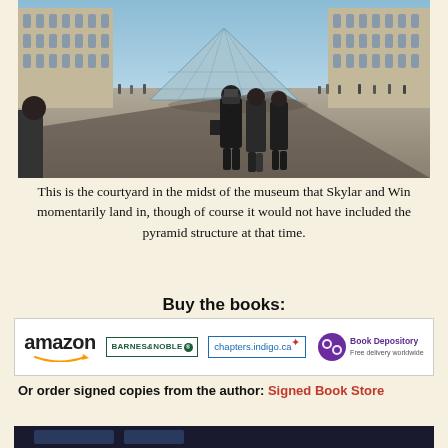[Figure (photo): Courtyard of the Louvre museum in Paris, with the iconic glass pyramid visible in the background. Tourists are standing in the large open plaza. Two people in the foreground appear to be photographing the pyramid. Classic French palace architecture flanks both sides.]
This is the courtyard in the midst of the museum that Skylar and Win momentarily land in, though of course it would not have included the pyramid structure at that time.
Buy the books:
[Figure (logo): Row of retailer logos: Amazon, Barnes & Noble, chapters.indigo.ca, and Book Depository (Free delivery worldwide)]
Or order signed copies from the author: Signed Book Store
[Figure (photo): Bottom partial image, dark background, partially cut off]